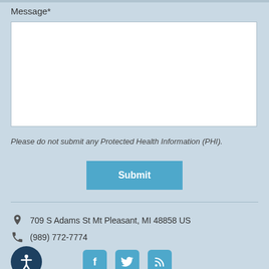Message*
[Figure (other): Empty white text area input field for message]
Please do not submit any Protected Health Information (PHI).
Submit
709 S Adams St Mt Pleasant, MI 48858 US
(989) 772-7774
[Figure (other): Accessibility icon (person in circle), Facebook icon, Twitter icon, RSS feed icon]